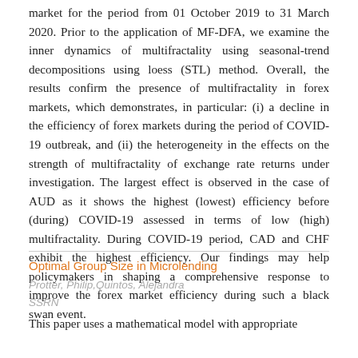market for the period from 01 October 2019 to 31 March 2020. Prior to the application of MF-DFA, we examine the inner dynamics of multifractality using seasonal-trend decompositions using loess (STL) method. Overall, the results confirm the presence of multifractality in forex markets, which demonstrates, in particular: (i) a decline in the efficiency of forex markets during the period of COVID-19 outbreak, and (ii) the heterogeneity in the effects on the strength of multifractality of exchange rate returns under investigation. The largest effect is observed in the case of AUD as it shows the highest (lowest) efficiency before (during) COVID-19 assessed in terms of low (high) multifractality. During COVID-19 period, CAD and CHF exhibit the highest efficiency. Our findings may help policymakers in shaping a comprehensive response to improve the forex market efficiency during such a black swan event.
Optimal Group Size in Microlending
Protter, Philip,Quintos, Alejandra
SSRN
This paper uses a mathematical model with appropriate